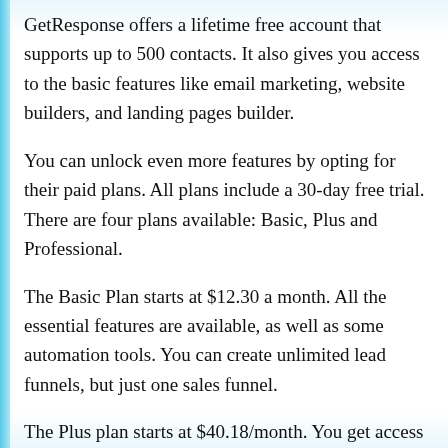GetResponse offers a lifetime free account that supports up to 500 contacts. It also gives you access to the basic features like email marketing, website builders, and landing pages builder.
You can unlock even more features by opting for their paid plans. All plans include a 30-day free trial. There are four plans available: Basic, Plus and Professional.
The Basic Plan starts at $12.30 a month. All the essential features are available, as well as some automation tools. You can create unlimited lead funnels, but just one sales funnel.
The Plus plan starts at $40.18/month. You get access to everything under the automation feature and can create five custom workflows. Hosting webinars can be done with up to 100 participants and three hours of recording storage. You